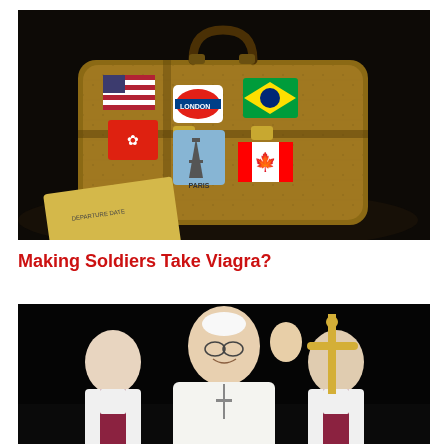[Figure (photo): An old worn brown leather suitcase with travel stickers from various countries including USA flag, London Underground, Brazil flag, Hong Kong, Paris Eiffel Tower, and Canada maple leaf. A yellow envelope is visible beneath the suitcase. Dark background.]
Making Soldiers Take Viagra?
[Figure (photo): Pope Francis in white papal robes waving to a crowd, flanked by two priests in white and purple vestments. A ornate golden cross is visible in the background. Dark background.]